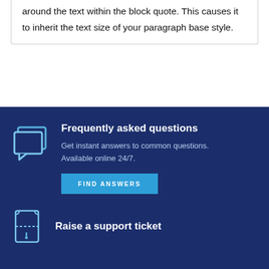around the text within the block quote. This causes it to inherit the text size of your paragraph base style.
Frequently asked questions
Get instant answers to common questions. Available online 24/7.
FIND ANSWERS
Raise a support ticket